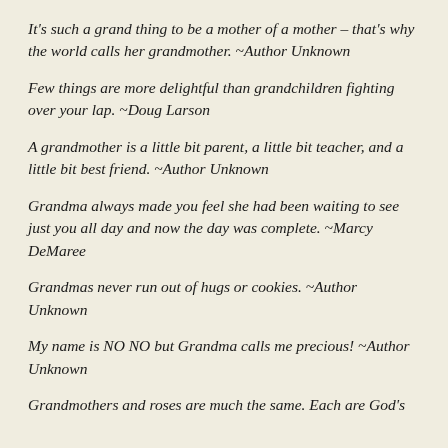It's such a grand thing to be a mother of a mother – that's why the world calls her grandmother. ~Author Unknown
Few things are more delightful than grandchildren fighting over your lap. ~Doug Larson
A grandmother is a little bit parent, a little bit teacher, and a little bit best friend. ~Author Unknown
Grandma always made you feel she had been waiting to see just you all day and now the day was complete. ~Marcy DeMaree
Grandmas never run out of hugs or cookies. ~Author Unknown
My name is NO NO but Grandma calls me precious! ~Author Unknown
Grandmothers and roses are much the same. Each are God's